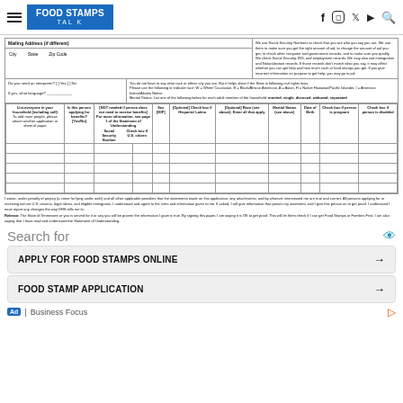FOOD STAMPS TALK — navigation header with social icons
| Mailing Address (if different) | Social Security info text |
| --- | --- |
| City | State | Zip Code |  |
| Do you need an interpreter? [ ] Yes [ ] No | You do not have to say what race or ethnic city you are... |
| List everyone in your household (including self) | Is this person applying for benefits? [Yes/No] | [NOT needed if person does not need to receive benefits] Social Security Number / Check box if U.S. citizen | Sex [M/F] | [Optional] Check box if Hispanic/Latino | [Optional] Race (see above); Enter all that apply | Marital Status (see above) | Date of Birth | Check box if person is pregnant | Check box if person is disabled |
| --- | --- | --- | --- | --- | --- | --- | --- | --- | --- |
|  |
|  |
|  |
|  |
|  |
|  |
I swear, under penalty of perjury (a crime for lying under oath) and all other applicable penalties that the statements made on this application, any attachments, and by whoever interviewed me are true and correct. All persons applying for or receiving aid are U.S citizens, legal aliens, and eligible immigrants...
Release: The State of Tennessee or you is served for it or you will be proven the information I gave is true. By signing this paper, I am saying it is OK to get proof. This will let them check if I can get Food Stamps or Families First. I am also saying that I have read and understood the Statement of Understanding.
Search for
APPLY FOR FOOD STAMPS ONLINE →
FOOD STAMP APPLICATION →
Ad | Business Focus